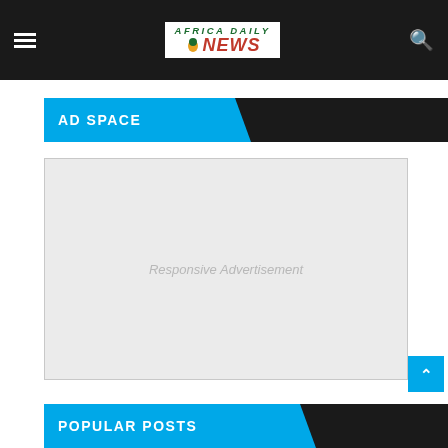Africa Daily News — navigation bar with hamburger menu, logo, and search icon
AD SPACE
[Figure (other): Responsive Advertisement placeholder box (light grey background)]
POPULAR POSTS